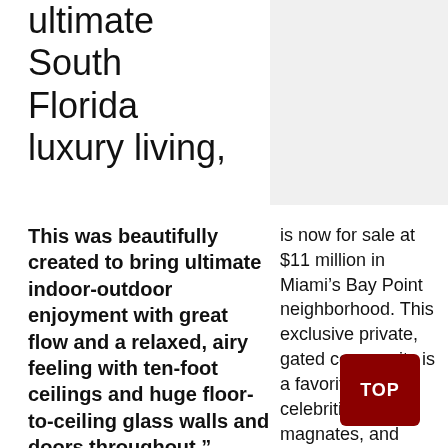ultimate South Florida luxury living,
[Figure (other): Gray placeholder image box in upper right]
This was beautifully created to bring ultimate indoor-outdoor enjoyment with great flow and a relaxed, airy feeling with ten-foot ceilings and huge floor-to-ceiling glass walls and doors throughout.”
— Juan Zuluaga, Property Agent, GRABER Realty Group
is now for sale at $11 million in Miami’s Bay Point neighborhood. This exclusive private, gated community is a favorite for celebrities, industry magnates, and Miami’s most